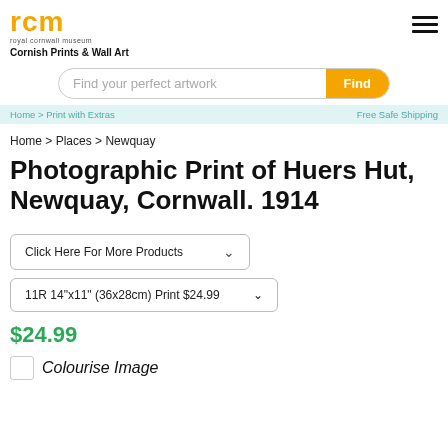[Figure (logo): RCM Royal Cornwall Museum logo in yellow/gold with tagline text below]
Cornish Prints & Wall Art
Find your perfect artwork Find
Home > Places > Newquay
Photographic Print of Huers Hut, Newquay, Cornwall. 1914
Click Here For More Products
11R 14"x11" (36x28cm) Print $24.99
$24.99
Colourise Image